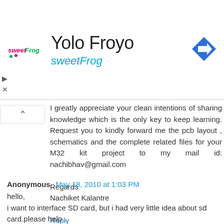[Figure (screenshot): Yolo Froyo sweetFrog advertisement banner with logo and navigation arrow icon]
I greatly appreciate your clean intentions of sharing knowledge which is the only key to keep learning. Request you to kindly forward me the pcb layout , schematics and the complete related files for your M32 kit project to my mail id: nachibhav@gmail.com

Regards
Nachiket Kalantre
Reply
Anonymous May 18, 2010 at 1:03 PM
hello,
i want to interface SD card, but i had very little idea about sd card.please help .
email - shirse2@gmail.com